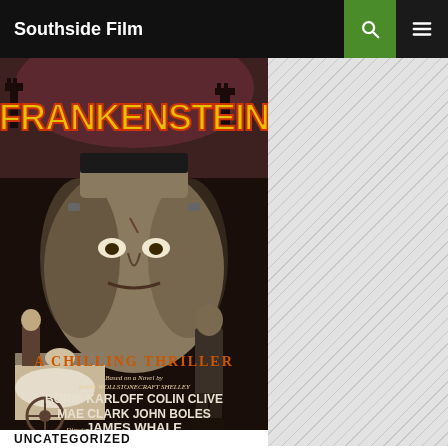Southside Film
[Figure (photo): Classic Frankenstein (1931) movie poster featuring the monster Boris Karloff, with text 'FRANKENSTEIN', 'A Chilling Thriller', 'Based on a Novel by Mary Wollstonecraft Shelley', 'Boris Karloff Colin Clive Mae Clark John Boles', 'Director James Whale']
UNCATEGORIZED